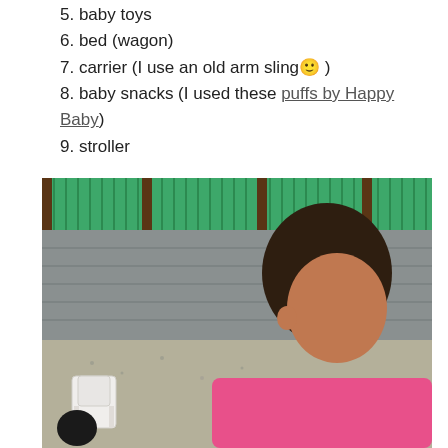5. baby toys
6. bed (wagon)
7. carrier (I use an old arm sling🙂 )
8. baby snacks (I used these puffs by Happy Baby)
9. stroller
[Figure (photo): A young child with dark curly hair wearing a pink top, sitting outdoors in front of a grey cinder block wall with a green corrugated metal fence on top. There is a white plastic chair on the left and a white bucket on the ground. The area appears to be a gravel/dirt yard.]